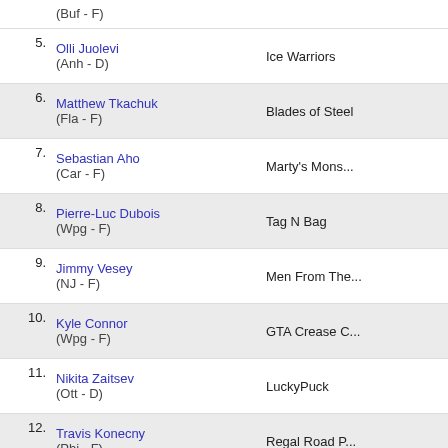(Buf - F)
5. Olli Juolevi (Anh - D) | Ice Warriors
6. Matthew Tkachuk (Fla - F) | Blades of Steel
7. Sebastian Aho (Car - F) | Marty's Mons...
8. Pierre-Luc Dubois (Wpg - F) | Tag N Bag
9. Jimmy Vesey (NJ - F) | Men From The...
10. Kyle Connor (Wpg - F) | GTA Crease C...
11. Nikita Zaitsev (Ott - D) | LuckyPuck
12. Travis Konecny (Phi - F) | Regal Road P...
13. Pavel Buchnevich (StL - F) | Panda Express
14. Zach Werenski (Cls - D) | Cement Heads
15. Mikhail Sergachev (TB - D) | Wumpa
16. Robin Lehner | ShootEverybo...